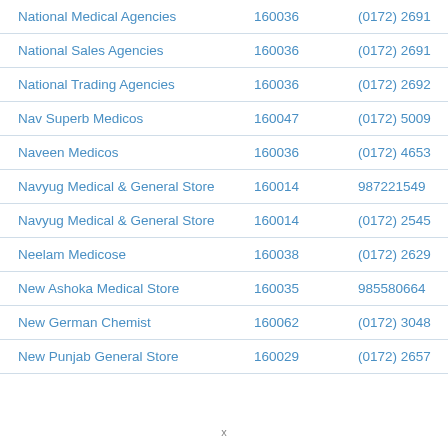| Name | Pin Code | Phone |
| --- | --- | --- |
| National Medical Agencies | 160036 | (0172) 2691... |
| National Sales Agencies | 160036 | (0172) 2691... |
| National Trading Agencies | 160036 | (0172) 2692... |
| Nav Superb Medicos | 160047 | (0172) 5009... |
| Naveen Medicos | 160036 | (0172) 4653... |
| Navyug Medical & General Store | 160014 | 98722154999... |
| Navyug Medical & General Store | 160014 | (0172) 2545... |
| Neelam Medicose | 160038 | (0172) 2629... |
| New Ashoka Medical Store | 160035 | 985580664... |
| New German Chemist | 160062 | (0172) 3048... |
| New Punjab General Store | 160029 | (0172) 2657... |
x